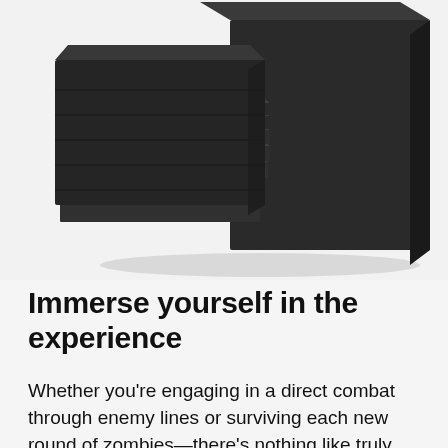[Figure (photo): Dark charcoal acoustic foam panels stacked together — wedge-profile tiles on the left side fanned out, and flat square panels stacked on the right, photographed against a light grey background.]
Immerse yourself in the experience
Whether you're engaging in a direct combat through enemy lines or surviving each new round of zombies—there's nothing like truly immersing yourself in